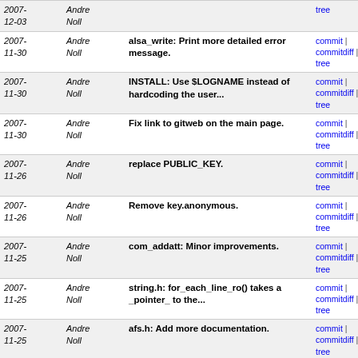| Date | Author | Commit message | Links |
| --- | --- | --- | --- |
| 2007-12-03 | Andre Noll |  | commit | commitdiff | tree |
| 2007-11-30 | Andre Noll | alsa_write: Print more detailed error message. | commit | commitdiff | tree |
| 2007-11-30 | Andre Noll | INSTALL: Use $LOGNAME instead of hardcoding the user... | commit | commitdiff | tree |
| 2007-11-30 | Andre Noll | Fix link to gitweb on the main page. | commit | commitdiff | tree |
| 2007-11-26 | Andre Noll | replace PUBLIC_KEY. | commit | commitdiff | tree |
| 2007-11-26 | Andre Noll | Remove key.anonymous. | commit | commitdiff | tree |
| 2007-11-25 | Andre Noll | com_addatt: Minor improvements. | commit | commitdiff | tree |
| 2007-11-25 | Andre Noll | string.h: for_each_line_ro() takes a _pointer_ to the... | commit | commitdiff | tree |
| 2007-11-25 | Andre Noll | afs.h: Add more documentation. | commit | commitdiff | tree |
| 2007-11-25 | Andre Noll | afs.h: Fix typo in comment. | commit | commitdiff | tree |
| 2007-11-25 | Andre Noll | afh_common.c: Add documentation of afh_init(). | commit | commitdiff | tree |
| 2007-11-25 | Andre Noll | error.h: Cosmetics. | commit | commitdiff | tree |
| 2007-11-25 | Andre Noll | The setatt command needs at least two arguments. | commit | commitdiff | tree |
| 2007-11-25 | Andre Noll | Fix a couple of typos in error messages. | commit | commitdiff | tree |